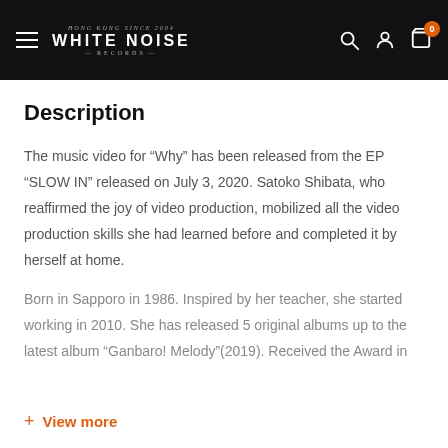WHITE NOISE RECORDS
Description
The music video for “Why” has been released from the EP “SLOW IN” released on July 3, 2020. Satoko Shibata, who reaffirmed the joy of video production, mobilized all the video production skills she had learned before and completed it by herself at home.
Born in Sapporo in 1986. Inspired by her teacher, she started working in 2010. She has released 5 original albums up to the latest album “Ganbaro! Melody”(2019). Received the Award in
+ View more